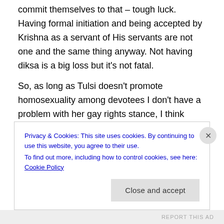commit themselves to that – tough luck. Having formal initiation and being accepted by Krishna as a servant of His servants are not one and the same thing anyway. Not having diksa is a big loss but it's not fatal.
So, as long as Tulsi doesn't promote homosexuality among devotees I don't have a problem with her gay rights stance, I think Bhakti Vikasa Swami has overreacted somewhat her, though his objection was against new.iskcon.org, not against Tulsi herself, and that is a whole other topic.
Privacy & Cookies: This site uses cookies. By continuing to use this website, you agree to their use.
To find out more, including how to control cookies, see here: Cookie Policy
Close and accept
REPORT THIS AD